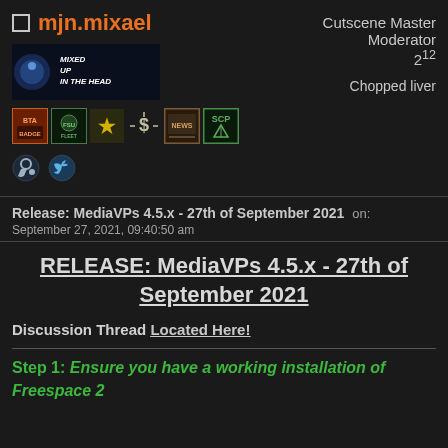mjn.mixael — Cutscene Master Moderator 2^12 Chopped liver
[Figure (illustration): Banner image: Mixed Up In The Head logo with space-themed background]
[Figure (illustration): Row of forum badges: BTA, FSU, gold star, dollar sign, NEWS, SCP]
[Figure (illustration): Social icons: Steam and Twitter]
Release: MediaVPs 4.5.x - 27th of September 2021  on:
September 27, 2021, 09:40:50 am
RELEASE: MediaVPs 4.5.x - 27th of September 2021
Discussion Thread Located Here!
Step 1: Ensure you have a working installation of Freespace 2